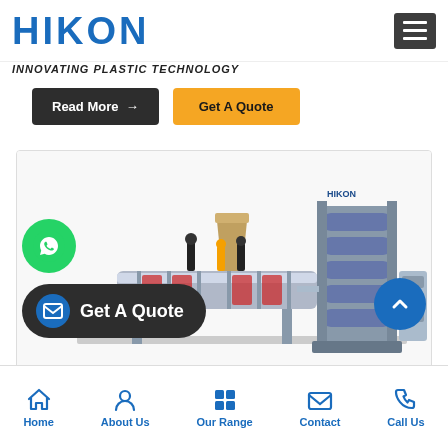HIKON
INNOVATING PLASTIC TECHNOLOGY
Read More →
Get A Quote
[Figure (photo): Industrial plastic extrusion machine by HIKON, showing extruder barrel, motor, and sheet calender stack]
Get A Quote
Home  About Us  Our Range  Contact  Call Us